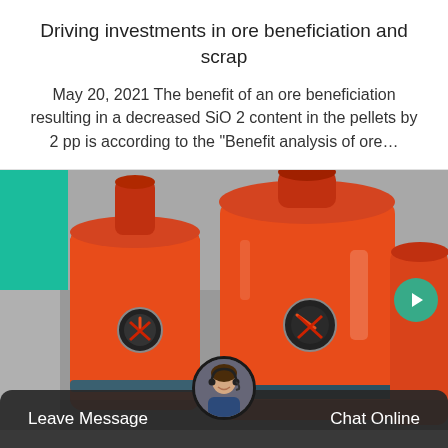Driving investments in ore beneficiation and scrap
May 20, 2021 The benefit of an ore beneficiation resulting in a decreased SiO 2 content in the pellets by 2 pp is according to the “Benefit analysis of ore…
[Figure (photo): Industrial orange ore beneficiation machinery/mills in a factory setting, with teal accent block overlaid top-left and a forward navigation arrow on the right side.]
Leave Message   Chat Online